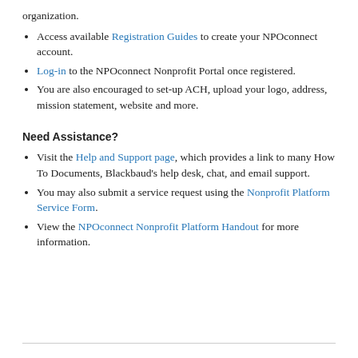organization.
Access available Registration Guides to create your NPOconnect account.
Log-in to the NPOconnect Nonprofit Portal once registered.
You are also encouraged to set-up ACH, upload your logo, address, mission statement, website and more.
Need Assistance?
Visit the Help and Support page, which provides a link to many How To Documents, Blackbaud's help desk, chat, and email support.
You may also submit a service request using the Nonprofit Platform Service Form.
View the NPOconnect Nonprofit Platform Handout for more information.